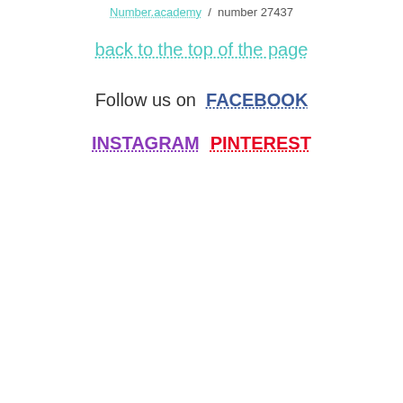Number.academy / number 27437
back to the top of the page
Follow us on  FACEBOOK
INSTAGRAM  PINTEREST